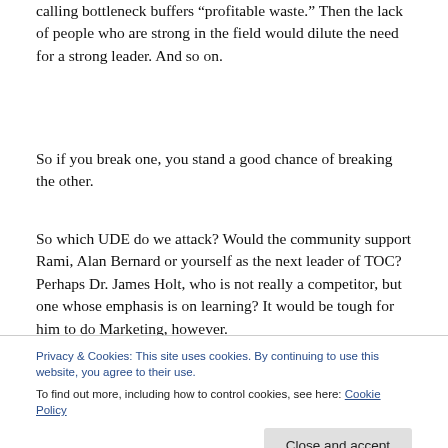calling bottleneck buffers “profitable waste.” Then the lack of people who are strong in the field would dilute the need for a strong leader. And so on.
So if you break one, you stand a good chance of breaking the other.
So which UDE do we attack? Would the community support Rami, Alan Bernard or yourself as the next leader of TOC? Perhaps Dr. James Holt, who is not really a competitor, but one whose emphasis is on learning? It would be tough for him to do Marketing, however.
Privacy & Cookies: This site uses cookies. By continuing to use this website, you agree to their use.
To find out more, including how to control cookies, see here: Cookie Policy
professionals being paid to develop an on-line